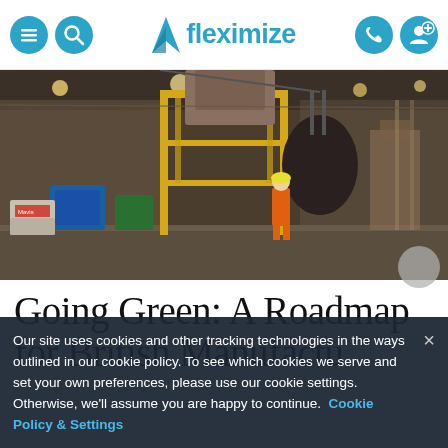fleximize — navigation bar with menu, search, phone, and account icons
[Figure (photo): Industrial warehouse/factory floor scene with a worker in orange hi-vis gear standing near large yellow metal framework structure, with heavy machinery and a large dark object being lifted overhead. Dimly lit industrial interior.]
Going Green: A Roadmap for British Manufacturers
Our site uses cookies and other tracking technologies in the ways outlined in our cookie policy. To see which cookies we serve and set your own preferences, please use our cookie settings. Otherwise, we'll assume you are happy to continue. Cookie Policy & Settings